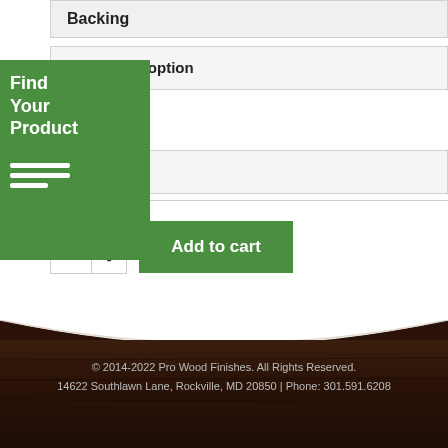Backing
Choose an option
e an option
[Figure (other): Green arrow-shaped badge with text 'Find Your Product' and hamburger menu icon]
Add to cart
© 2014-2022 Pro Wood Finishes. All Rights Reserved.
14622 Southlawn Lane, Rockville, MD 20850 | Phone: 301.591.6208